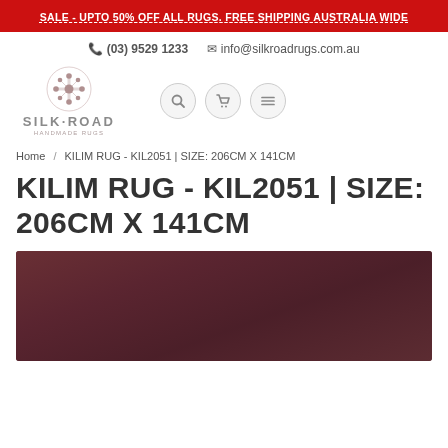SALE - UPTO 50% OFF ALL RUGS. FREE SHIPPING AUSTRALIA WIDE
(03) 9529 1233   info@silkroadrugs.com.au
[Figure (logo): Silk Road Handmade Rugs logo with decorative emblem]
Home / KILIM RUG - KIL2051 | SIZE: 206CM X 141CM
KILIM RUG - KIL2051 | SIZE: 206CM X 141CM
[Figure (photo): Partial view of a dark red/maroon kilim rug product image]